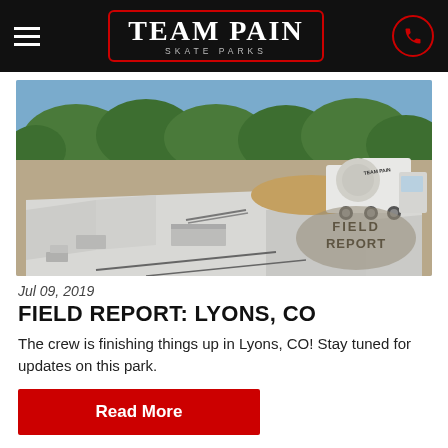Team Pain Skate Parks
[Figure (photo): Aerial view of a freshly poured concrete skate park in Lyons, CO with a Team Pain cement mixer truck visible in the background and a 'Field Report' watermark overlay on the right side. Trees visible in the background.]
Jul 09, 2019
FIELD REPORT: LYONS, CO
The crew is finishing things up in Lyons, CO! Stay tuned for updates on this park.
Read More